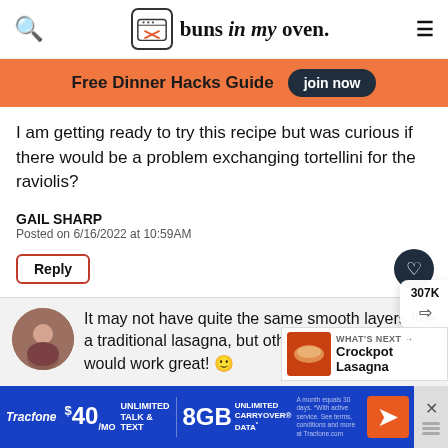buns in my oven
Free Dinner Hacks Guide  Join now
I am getting ready to try this recipe but was curious if there would be a problem exchanging tortellini for the raviolis?
GAIL SHARP
Posted on 6/16/2022 at 10:59AM
Reply
307K
It may not have quite the same smooth layers like a traditional lasagna, but otherwise I think it would work great! 🙂
WHAT'S NEXT → Crockpot Lasagna
Karly
Posted on 6/16/2022 at 2:03PM
[Figure (screenshot): Tracfone advertisement banner: $40/mo Unlimited Talk & Text + 8GB Unlimited Carryover Data]